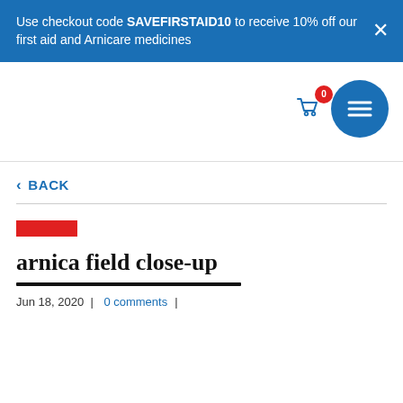Use checkout code SAVEFIRSTAID10 to receive 10% off our first aid and Arnicare medicines
[Figure (screenshot): Navigation bar with shopping cart icon showing badge '0' and blue circular hamburger menu button]
< BACK
[Figure (other): Red horizontal bar decoration above article title]
arnica field close-up
Jun 18, 2020 | 0 comments |